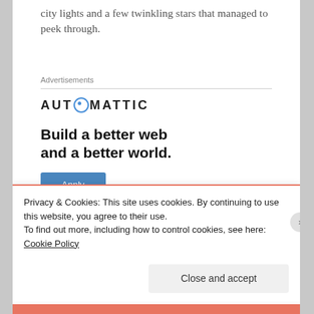city lights and a few twinkling stars that managed to peek through.
Advertisements
[Figure (logo): AUTOMATTIC logo with a circular compass/direction icon replacing the letter O]
[Figure (infographic): Automattic advertisement: 'Build a better web and a better world.' with an Apply button and a photo of a person thinking]
Privacy & Cookies: This site uses cookies. By continuing to use this website, you agree to their use.
To find out more, including how to control cookies, see here: Cookie Policy
Close and accept